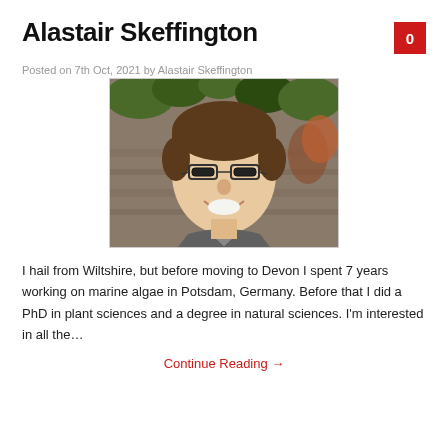Alastair Skeffington
Posted on 7th Oct, 2021 by Alastair Skeffington
[Figure (photo): Portrait photo of Alastair Skeffington smiling, wearing glasses, with green foliage and stone wall in background]
I hail from Wiltshire, but before moving to Devon I spent 7 years working on marine algae in Potsdam, Germany. Before that I did a PhD in plant sciences and a degree in natural sciences. I'm interested in all the…
Continue Reading →